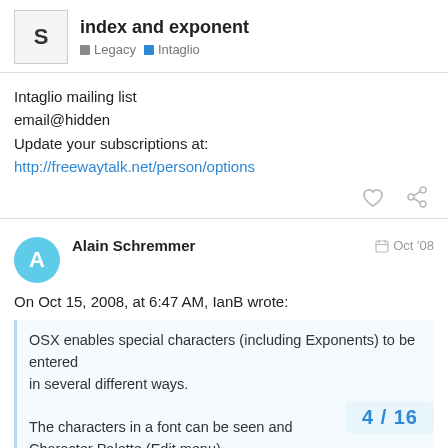index and exponent
Legacy  Intaglio
Intaglio mailing list
email@hidden
Update your subscriptions at:
http://freewaytalk.net/person/options
Alain Schremmer    Oct '08
On Oct 15, 2008, at 6:47 AM, IanB wrote:
OSX enables special characters (including Exponents) to be entered
in several different ways.

The characters in a font can be seen and
Character Palette (Edit menu).
4 / 16